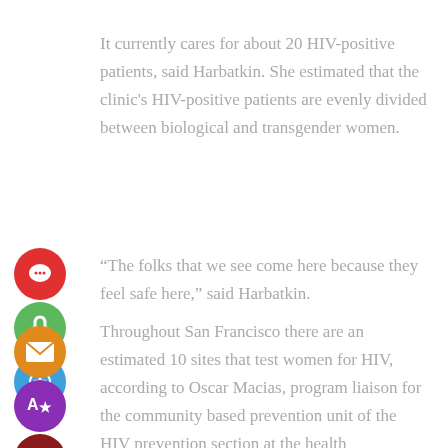It currently cares for about 20 HIV-positive patients, said Harbatkin. She estimated that the clinic's HIV-positive patients are evenly divided between biological and transgender women.
“The folks that we see come here because they feel safe here,” said Harbatkin.
Throughout San Francisco there are an estimated 10 sites that test women for HIV, according to Oscar Macias, program liaison for the community based prevention unit of the HIV prevention section at the health department.